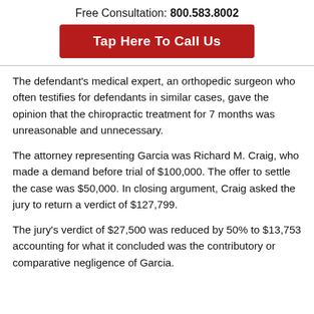Free Consultation: 800.583.8002
[Figure (other): Red button: Tap Here To Call Us]
The defendant's medical expert, an orthopedic surgeon who often testifies for defendants in similar cases, gave the opinion that the chiropractic treatment for 7 months was unreasonable and unnecessary.
The attorney representing Garcia was Richard M. Craig, who made a demand before trial of $100,000. The offer to settle the case was $50,000. In closing argument, Craig asked the jury to return a verdict of $127,799.
The jury's verdict of $27,500 was reduced by 50% to $13,753 accounting for what it concluded was the contributory or comparative negligence of Garcia.